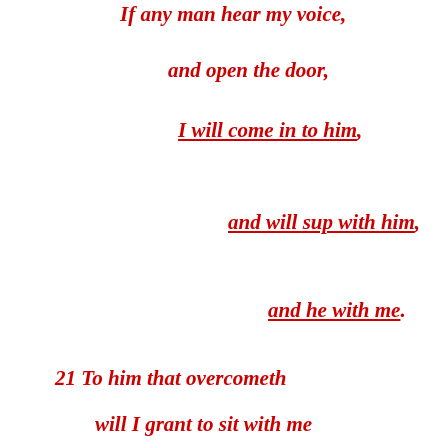If any man hear my voice,
and open the door,
I will come in to him,
and will sup with him,
and he with me.
21 To him that overcometh
will I grant to sit with me
in my throne,